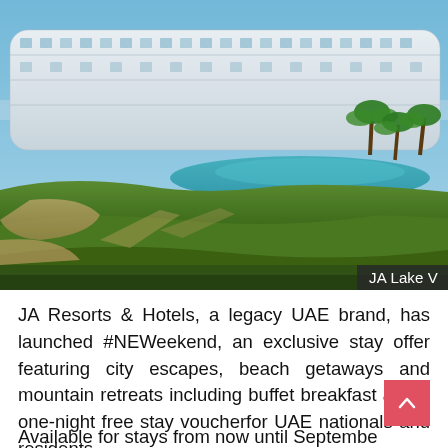[Figure (photo): Aerial/architectural rendering of JA Lake hotel resort showing a modern curved multi-story building with pools, landscaped gardens, palm trees, and a waterway in the UAE. Caption overlay reads 'JA Lake V'.]
JA Resorts & Hotels, a legacy UAE brand, has launched #NEWeekend, an exclusive stay offer featuring city escapes, beach getaways and mountain retreats including buffet breakfast and a one-night free stay voucherfor UAE nationals and residents.
Available for stays from now until September 30, 2023